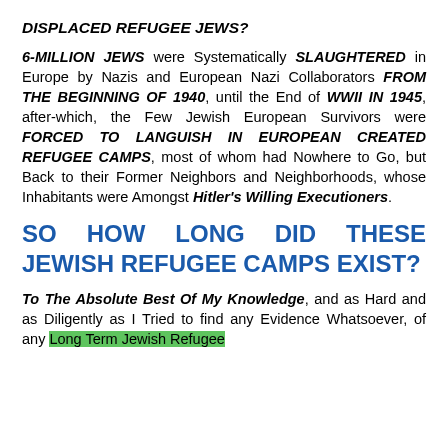DISPLACED REFUGEE JEWS?
6-MILLION JEWS were Systematically SLAUGHTERED in Europe by Nazis and European Nazi Collaborators FROM THE BEGINNING OF 1940, until the End of WWII IN 1945, after-which, the Few Jewish European Survivors were FORCED TO LANGUISH IN EUROPEAN CREATED REFUGEE CAMPS, most of whom had Nowhere to Go, but Back to their Former Neighbors and Neighborhoods, whose Inhabitants were Amongst Hitler's Willing Executioners.
SO HOW LONG DID THESE JEWISH REFUGEE CAMPS EXIST?
To The Absolute Best Of My Knowledge, and as Hard and as Diligently as I Tried to find any Evidence Whatsoever, of any Long Term Jewish Refugee